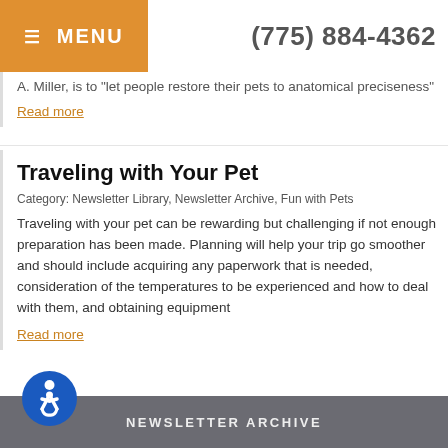≡ MENU   (775) 884-4362
A. Miller, is to "let people restore their pets to anatomical preciseness"
Read more
Traveling with Your Pet
Category: Newsletter Library, Newsletter Archive, Fun with Pets
Traveling with your pet can be rewarding but challenging if not enough preparation has been made. Planning will help your trip go smoother and should include acquiring any paperwork that is needed, consideration of the temperatures to be experienced and how to deal with them, and obtaining equipment
Read more
NEWSLETTER ARCHIVE